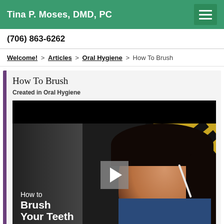Tina P. Moses, DMD, PC
(706) 863-6262
Welcome! > Articles > Oral Hygiene > How To Brush
How To Brush
Created in Oral Hygiene
[Figure (screenshot): Video thumbnail showing a woman brushing her teeth, with a play button overlay and text reading 'How to Brush Your Teeth']